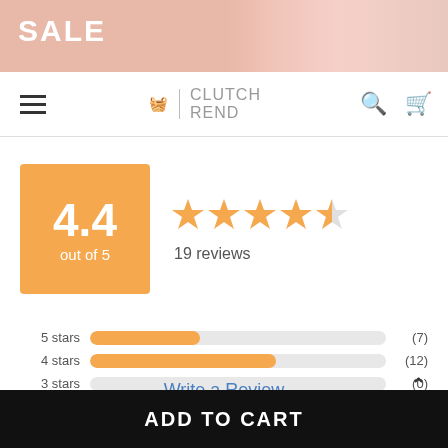[Figure (screenshot): Pink sale banner with fashion model holding a clutch bag]
CLUTCH REND
[Figure (bar-chart): Product rating summary]
4.4 out of 5 — 19 reviews
Write a Review
ADD TO CART